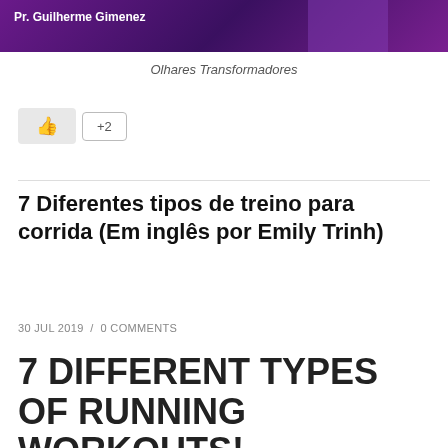[Figure (photo): Banner image with purple background showing a figure on stage with text 'Pr. Guilherme Gimenez']
Olhares Transformadores
[Figure (other): Like button (thumbs up icon) and +2 reaction count button]
7 Diferentes tipos de treino para corrida (Em inglês por Emily Trinh)
30 JUL 2019 / 0 COMMENTS
7 DIFFERENT TYPES OF RUNNING WORKOUTS!